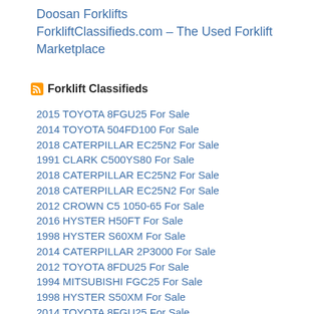Doosan Forklifts ForkliftClassifieds.com – The Used Forklift Marketplace
Forklift Classifieds
2015 TOYOTA 8FGU25 For Sale
2014 TOYOTA 504FD100 For Sale
2018 CATERPILLAR EC25N2 For Sale
1991 CLARK C500YS80 For Sale
2018 CATERPILLAR EC25N2 For Sale
2018 CATERPILLAR EC25N2 For Sale
2012 CROWN C5 1050-65 For Sale
2016 HYSTER H50FT For Sale
1998 HYSTER S60XM For Sale
2014 CATERPILLAR 2P3000 For Sale
2012 TOYOTA 8FDU25 For Sale
1994 MITSUBISHI FGC25 For Sale
1998 HYSTER S50XM For Sale
2014 TOYOTA 8FGU25 For Sale